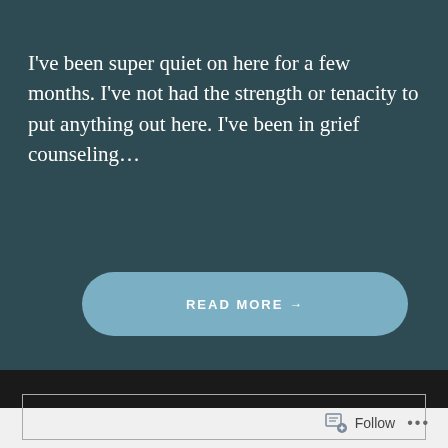I've been super quiet on here for a few months. I've not had the strength or tenacity to put anything out here. I've been in grief counseling…
READ MORE →
[Figure (screenshot): Follow button widget at the bottom right with a follow icon and ellipsis menu]
Follow …